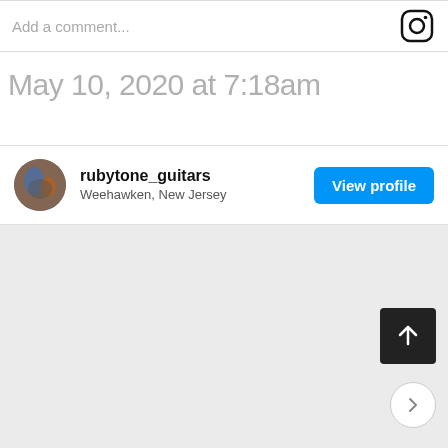Add a comment...
May 10, 2020 at 7:18am
rubytone_guitars
Weehawken, New Jersey
View profile
[Figure (screenshot): Gray content area with scroll-to-top button and next navigation button]